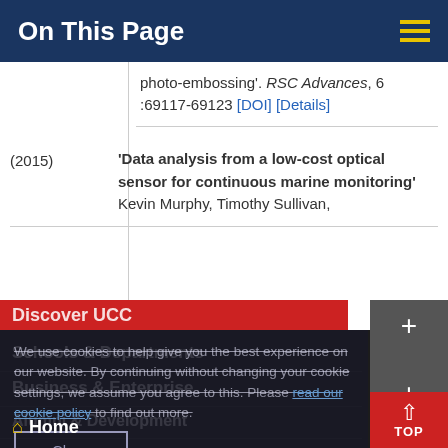On This Page
photo-embossing'. RSC Advances, 6 :69117-69123 [DOI] [Details]
| Year | Reference |
| --- | --- |
| (2015) | 'Data analysis from a low-cost optical sensor for continuous marine monitoring'
Kevin Murphy, Timothy Sullivan, |
Schools & Departments
Business & Enterprise
Alumni & Development
We use cookies to help give you the best experience on our website. By continuing without changing your cookie settings, we assume you agree to this. Please read our cookie policy to find out more.
Close
Home